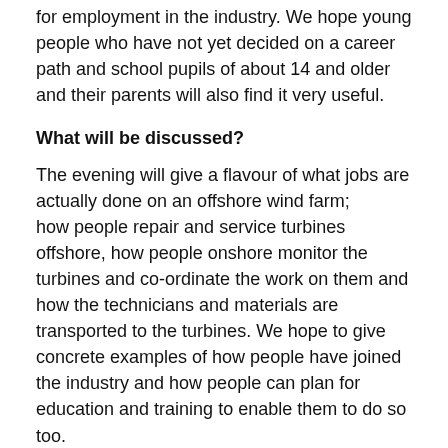for employment in the industry. We hope young people who have not yet decided on a career path and school pupils of about 14 and older and their parents will also find it very useful.
What will be discussed?
The evening will give a flavour of what jobs are actually done on an offshore wind farm; how people repair and service turbines offshore, how people onshore monitor the turbines and co-ordinate the work on them and how the technicians and materials are transported to the turbines. We hope to give concrete examples of how people have joined the industry and how people can plan for education and training to enable them to do so too.
Who will be leading the evening?
There will be three people currently working in the